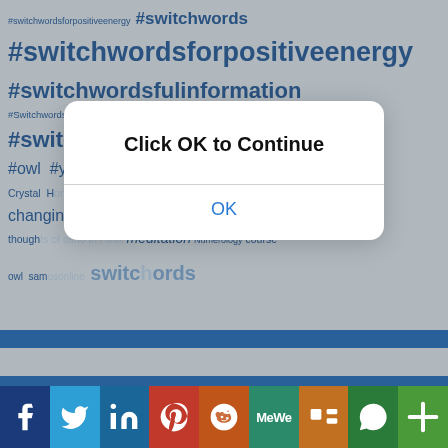[Figure (screenshot): A tag cloud background with hashtags related to switchwords in dark blue text on grey background, partially obscured by a dialog box. Tags include #switchwordsforpositiveenergy, #switchwords, #switchwordsfulinformation, #Switchwordsforgodganesha, #switchwords, #Switchwordsformoney, #switchwordsforpositiveenergy, #ullu, #owl, courses, Crystal, Horoscopes, Astrology And Zodiac, life changing thinking, powerful life changing thoughts of osho in Hindi, meditation, Numerology, course, owl, samosonline, switchwords]
[Figure (screenshot): iOS-style modal dialog box with title 'Click OK to Continue' and blue OK button]
[Figure (infographic): Social share bar at the bottom with icons for Facebook, Twitter, LinkedIn, Pinterest, Reddit, MeWe, Mix, WhatsApp, and More (plus sign)]